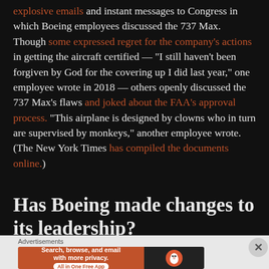explosive emails and instant messages to Congress in which Boeing employees discussed the 737 Max. Though some expressed regret for the company's actions in getting the aircraft certified — "I still haven't been forgiven by God for the covering up I did last year," one employee wrote in 2018 — others openly discussed the 737 Max's flaws and joked about the FAA's approval process. "This airplane is designed by clowns who in turn are supervised by monkeys," another employee wrote. (The New York Times has compiled the documents online.)
Has Boeing made changes to its leadership?
[Figure (other): DuckDuckGo advertisement banner: orange left panel with text 'Search, browse, and email with more privacy. All in One Free App', dark right panel with DuckDuckGo logo]